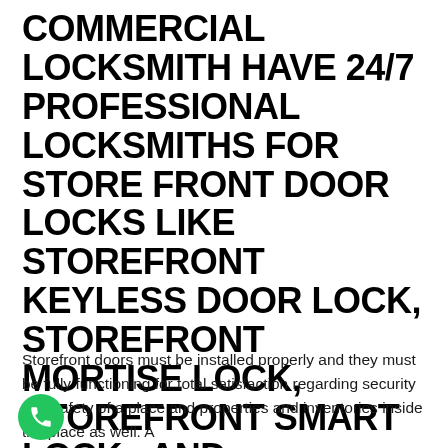COMMERCIAL LOCKSMITH HAVE 24/7 PROFESSIONAL LOCKSMITHS FOR STORE FRONT DOOR LOCKS LIKE STOREFRONT KEYLESS DOOR LOCK, STOREFRONT MORTISE LOCK, STOREFRONT SMART LOCK,, AND STOREFRONT DEADBOLT IN BOWNESS.
Storefront doors must be installed properly and they must be fully functioning for total satisfaction regarding security and safety of a place and properties and inventories inside the place as well. A Store Front Door & Lock is considered to be very important as well...